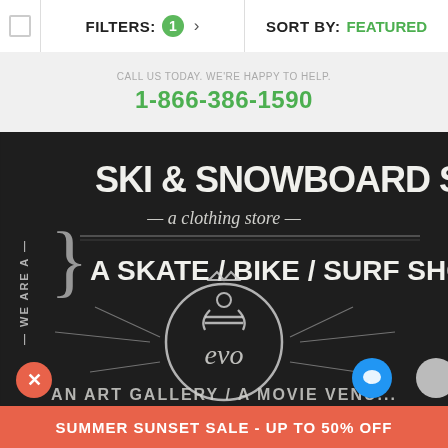FILTERS: 1   SORT BY: FEATURED
1-866-386-1590
[Figure (photo): Chalkboard sign reading: WE ARE A SKI & SNOWBOARD SHOP — a clothing store — A SKATE/BIKE/SURF SHOP with evo logo in center circle, and AN ART GALLERY / A MOVIE VENUE at bottom]
SUMMER SUNSET SALE - UP TO 50% OFF